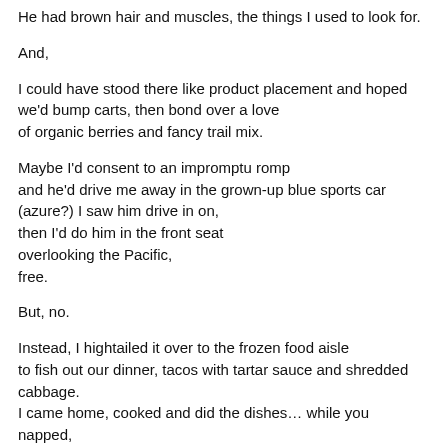He had brown hair and muscles, the things I used to look for.
And,
I could have stood there like product placement and hoped
we'd bump carts, then bond over a love
of organic berries and fancy trail mix.
Maybe I'd consent to an impromptu romp
and he'd drive me away in the grown-up blue sports car
(azure?) I saw him drive in on,
then I'd do him in the front seat
overlooking the Pacific,
free.
But, no.
Instead, I hightailed it over to the frozen food aisle
to fish out our dinner, tacos with tartar sauce and shredded
cabbage.
I came home, cooked and did the dishes… while you
napped,